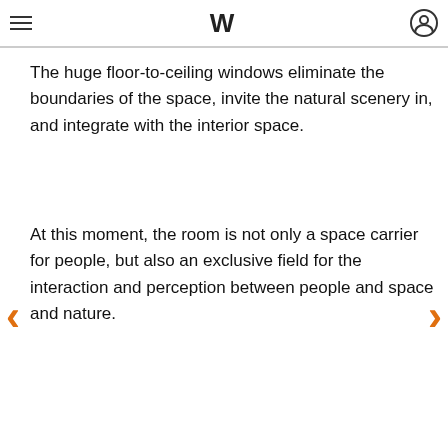W (logo with navigation menu and user icon)
of the space, and the warmth brought by the airmen fabric is like the softness of the waves.
The huge floor-to-ceiling windows eliminate the boundaries of the space, invite the natural scenery in, and integrate with the interior space.
At this moment, the room is not only a space carrier for people, but also an exclusive field for the interaction and perception between people and space and nature.